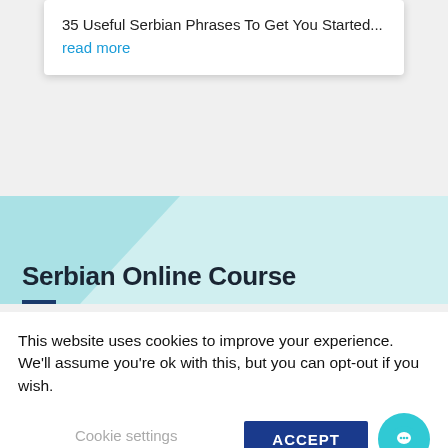35 Useful Serbian Phrases To Get You Started...
read more
Serbian Online Course
This website uses cookies to improve your experience. We'll assume you're ok with this, but you can opt-out if you wish.
Cookie settings
ACCEPT